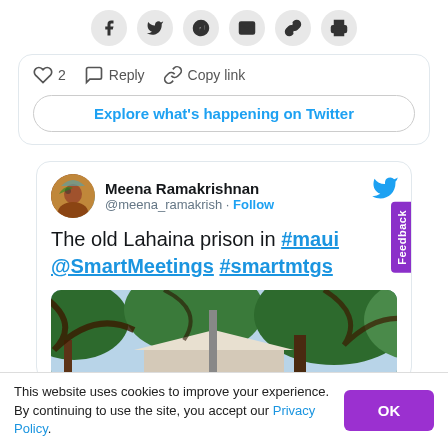[Figure (screenshot): Social share bar with icons for Facebook, Twitter, Pinterest, Email, Link, and Print]
[Figure (screenshot): Partial tweet card showing heart icon with count 2, Reply button, Copy link button, and an Explore what's happening on Twitter button]
Explore what's happening on Twitter
[Figure (screenshot): Tweet by Meena Ramakrishnan (@meena_ramakrish) with text: The old Lahaina prison in #maui @SmartMeetings #smartmtgs, with a photo of trees and a building]
Meena Ramakrishnan
@meena_ramakrish · Follow
The old Lahaina prison in #maui @SmartMeetings #smartmtgs
This website uses cookies to improve your experience. By continuing to use the site, you accept our Privacy Policy.